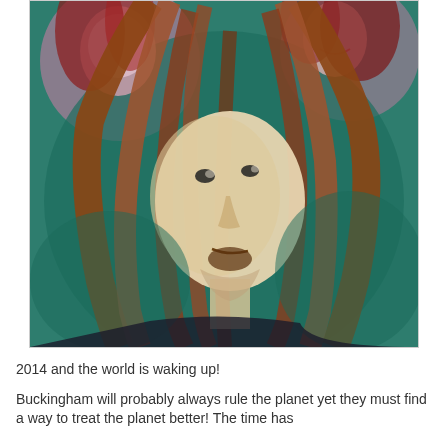[Figure (illustration): A colorful painted illustration depicting a man with long brown dreadlocks looking upward, with two other figures visible in the background. The style is expressive and painterly with teal, green, and brown tones.]
2014 and the world is waking up!
Buckingham will probably always rule the planet yet they must find a way to treat the planet better! The time has